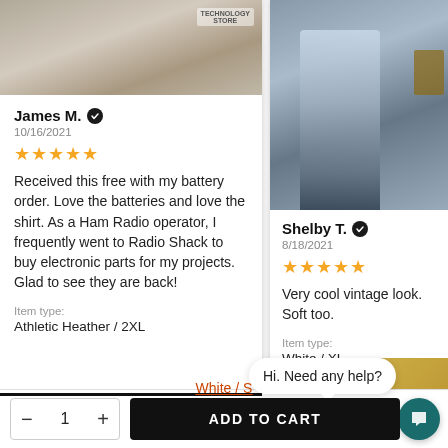[Figure (photo): Photo of a gray shirt with 'Technology Store' text, worn or displayed]
James M. ✓
10/16/2021
[Figure (other): Five gold stars rating]
Received this free with my battery order. Love the batteries and love the shirt. As a Ham Radio operator, I frequently went to Radio Shack to buy electronic parts for my projects. Glad to see they are back!
Item type:
Athletic Heather / 2XL
[Figure (photo): Person wearing gray outfit, full body mirror selfie]
Shelby T. ✓
8/18/2021
[Figure (other): Five gold stars rating]
Very cool vintage look. Soft too.
Item type:
White / XL
[Figure (photo): Bottom right partial product photo with gold/yellow circular object]
Hi. Need any help?
White / S
- 1 +
ADD TO CART